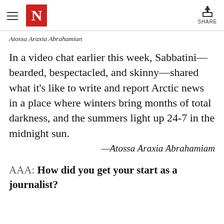N (The Nation logo) | SHARE
Atossa Araxia Abrahamian
In a video chat earlier this week, Sabbatini—bearded, bespectacled, and skinny—shared what it's like to write and report Arctic news in a place where winters bring months of total darkness, and the summers light up 24-7 in the midnight sun.
—Atossa Araxia Abrahamiam
AAA: How did you get your start as a journalist?